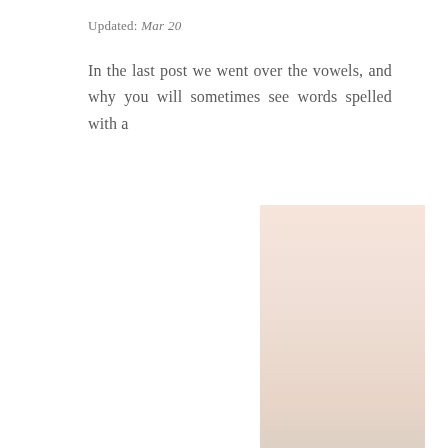Updated: Mar 20
In the last post we went over the vowels, and why you will sometimes see words spelled with a
[Figure (illustration): A tall rectangular block with a soft peach/beige gradient color, positioned in the lower right portion of the page.]